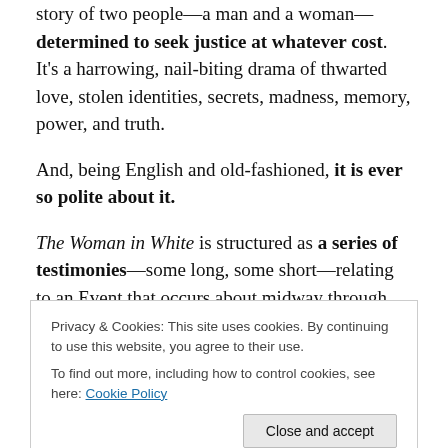story of two people—a man and a woman—determined to seek justice at whatever cost. It's a harrowing, nail-biting drama of thwarted love, stolen identities, secrets, madness, memory, power, and truth.
And, being English and old-fashioned, it is ever so polite about it.
The Woman in White is structured as a series of testimonies—some long, some short—relating to an Event that occurs about midway through the book. We hear from uncles and housekeepers, doctors and
Privacy & Cookies: This site uses cookies. By continuing to use this website, you agree to their use.
To find out more, including how to control cookies, see here: Cookie Policy
Laura Fairlie and her fierce, clever half-sister, Marian